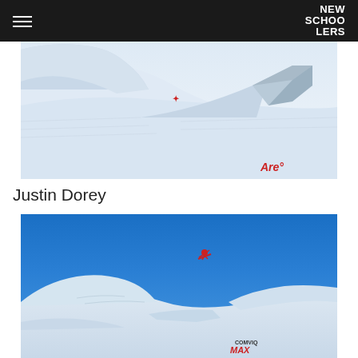NEW SCHOOLERS
[Figure (photo): Aerial view of a snow park kicker/jump with textured snow surface and a red ARE logo visible in the bottom right corner]
Justin Dorey
[Figure (photo): Skier performing an aerial trick high above snow park kickers against a bright blue sky, with COMVIQ MAX branding visible on the slope]